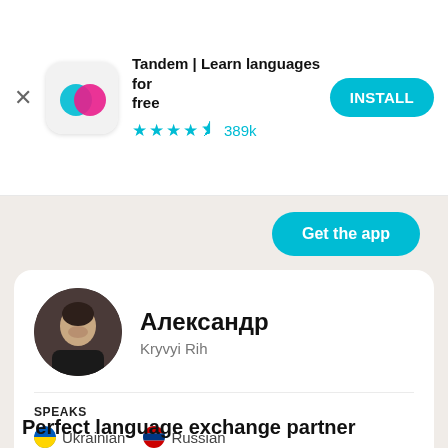[Figure (screenshot): Tandem app icon — rounded square with overlapping teal and pink circles on white background]
Tandem | Learn languages for free
★★★★½ 389k
INSTALL
Get the app
[Figure (photo): Profile photo of Александр, a young man with dark hair]
Александр
Kryvyi Rih
SPEAKS
🇺🇦 Ukrainian   🇷🇺 Russian
LEARNS
🇺🇸 English
Perfect language exchange partner